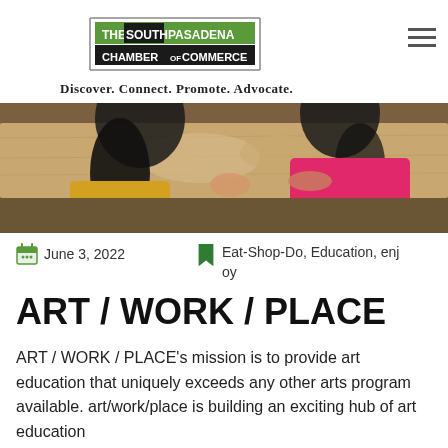[Figure (logo): The South Pasadena Chamber of Commerce logo with green and black design]
Discover. Connect. Promote. Advocate.
[Figure (photo): Overhead view of two children working at a wooden table with art materials, one wearing yellow and one wearing pink]
Eat-Shop-Do, Education, enjoy
June 3, 2022
ART / WORK / PLACE
ART / WORK / PLACE's mission is to provide art education that uniquely exceeds any other arts program available. art/work/place is building an exciting hub of art education